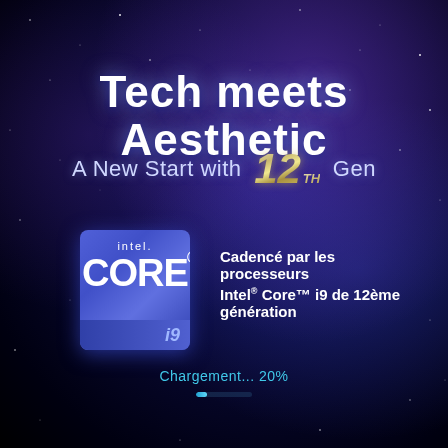Tech meets Aesthetic
A New Start with 12th Gen
[Figure (logo): Intel Core i9 processor badge logo — blue square with 'intel' text, 'CORe' large text, and 'i9' label at the bottom]
Cadencé par les processeurs Intel® Core™ i9 de 12ème génération
Chargement... 20%
[Figure (infographic): Loading progress bar showing 20% completion in cyan/blue color]